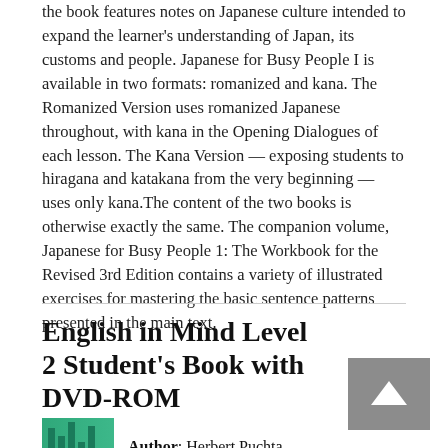the book features notes on Japanese culture intended to expand the learner's understanding of Japan, its customs and people. Japanese for Busy People I is available in two formats: romanized and kana. The Romanized Version uses romanized Japanese throughout, with kana in the Opening Dialogues of each lesson. The Kana Version — exposing students to hiragana and katakana from the very beginning — uses only kana.The content of the two books is otherwise exactly the same. The companion volume, Japanese for Busy People 1: The Workbook for the Revised 3rd Edition contains a variety of illustrated exercises for mastering the basic sentence patterns presented in the main text.
English in Mind Level 2 Student's Book with DVD-ROM
Author: Herbert Puchta